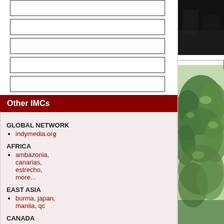Other IMCs
GLOBAL NETWORK
indymedia.org
AFRICA
ambazonia, canarias, estrecho, more...
EAST ASIA
burma, japan, manila, qc
CANADA
hamilton, maritimes, montreal, ontario, more...
[Figure (photo): Dark/black toned image at top right of page]
[Figure (photo): Photo of green leafy trees against sky]